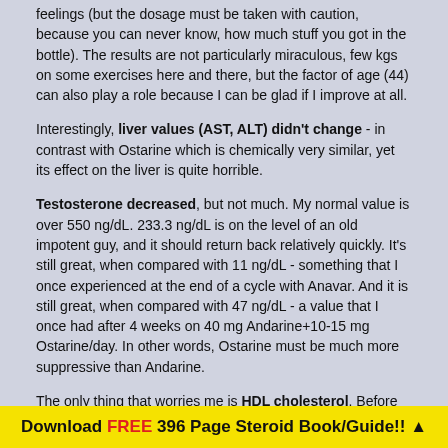feelings (but the dosage must be taken with caution, because you can never know, how much stuff you got in the bottle). The results are not particularly miraculous, few kgs on some exercises here and there, but the factor of age (44) can also play a role because I can be glad if I improve at all.
Interestingly, liver values (AST, ALT) didn't change - in contrast with Ostarine which is chemically very similar, yet its effect on the liver is quite horrible.
Testosterone decreased, but not much. My normal value is over 550 ng/dL. 233.3 ng/dL is on the level of an old impotent guy, and it should return back relatively quickly. It's still great, when compared with 11 ng/dL - something that I once experienced at the end of a cycle with Anavar. And it is still great, when compared with 47 ng/dL - a value that I once had after 4 weeks on 40 mg Andarine+10-15 mg Ostarine/day. In other words, Ostarine must be much more suppressive than Andarine.
The only thing that worries me is HDL cholesterol. Before the cycle, I had 1.15 mmol/L, so the drop is quite marked. But still much lower, when compared with Anavar.
I plan to stop this cycle now and continue with 12.5 mg Ibutamoren daily for several weeks. I think that this should be sufficient for the regeneration of testosterone.
RESULT [reference range]
Download FREE 396 Page Steroid Book/Guide!! ▲